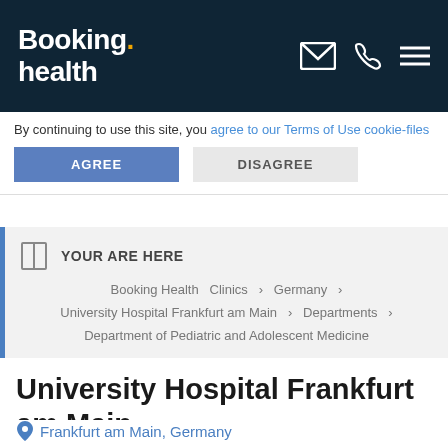Booking health
By continuing to use this site, you agree to our Terms of Use cookie-files
AGREE  DISAGREE
YOUR ARE HERE
Booking Health  Clinics  >  Germany  >
University Hospital Frankfurt am Main  >  Departments  >
Department of Pediatric and Adolescent Medicine
University Hospital Frankfurt am Main
Frankfurt am Main, Germany
Treatment request